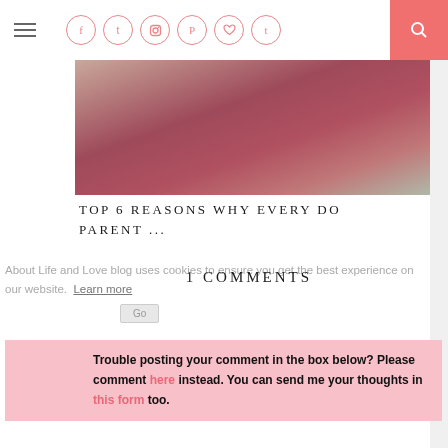Navigation header with hamburger menu, social icons (Facebook, Twitter, Instagram, Pinterest, Heart, Tumblr), and search button
[Figure (photo): Photo showing people from behind wearing dark pink/maroon clothing, blurred background]
TOP 6 REASONS WHY EVERY DO PARENT ...
About Life and Love blog uses cookies to ensure you get the best experience on our website. Learn more
1 COMMENTS
Trouble posting your comment in the box below? Please comment here instead. You can send me your thoughts in this form too.